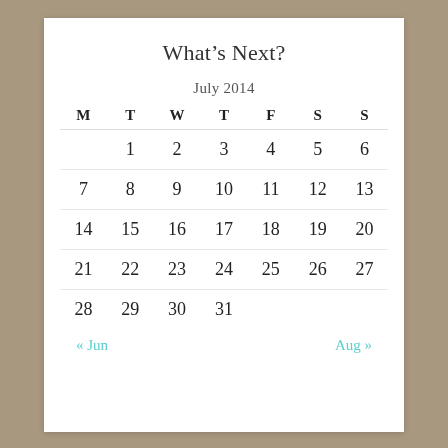What’s Next?
July 2014
| M | T | W | T | F | S | S |
| --- | --- | --- | --- | --- | --- | --- |
|  | 1 | 2 | 3 | 4 | 5 | 6 |
| 7 | 8 | 9 | 10 | 11 | 12 | 13 |
| 14 | 15 | 16 | 17 | 18 | 19 | 20 |
| 21 | 22 | 23 | 24 | 25 | 26 | 27 |
| 28 | 29 | 30 | 31 |  |  |  |
« Jun        Aug »